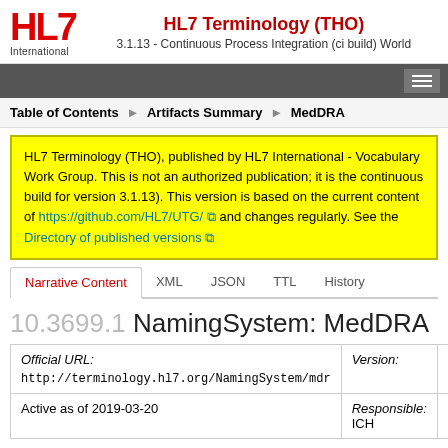HL7 Terminology (THO)
3.1.13 - Continuous Process Integration (ci build) World
HL7 Terminology (THO), published by HL7 International - Vocabulary Work Group. This is not an authorized publication; it is the continuous build for version 3.1.13). This version is based on the current content of https://github.com/HL7/UTG/ and changes regularly. See the Directory of published versions
Table of Contents > Artifacts Summary > MedDRA
10.3699.1 NamingSystem: MedDRA
| Official URL: | Version: |
| --- | --- |
| http://terminology.hl7.org/NamingSystem/mdr |  |
| Active as of 2019-03-20 | Responsible: ICH | Computable |